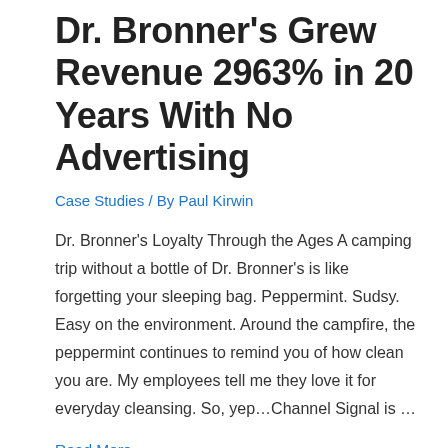Dr. Bronner's Grew Revenue 2963% in 20 Years With No Advertising
Case Studies / By Paul Kirwin
Dr. Bronner's Loyalty Through the Ages A camping trip without a bottle of Dr. Bronner's is like forgetting your sleeping bag. Peppermint. Sudsy. Easy on the environment. Around the campfire, the peppermint continues to remind you of how clean you are. My employees tell me they love it for everyday cleansing. So, yep…Channel Signal is …
Read More »
[Figure (photo): Photo of milkshakes with whipped cream and cherries on top, with straws, in a diner setting]